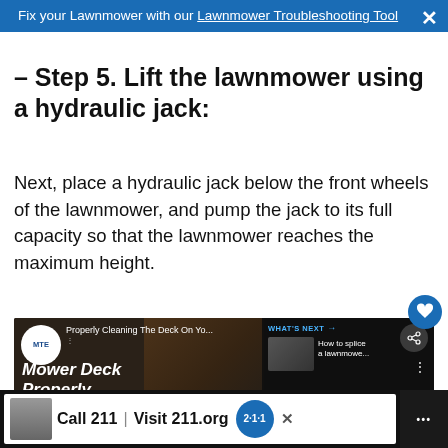Fix your Lawnmower with our Lawnmower Troubleshooting Tool
– Step 5. Lift the lawnmower using a hydraulic jack:
Next, place a hydraulic jack below the front wheels of the lawnmower, and pump the jack to its full capacity so that the lawnmower reaches the maximum height.
[Figure (screenshot): YouTube video thumbnail for 'Properly Cleaning The Deck On Yo...' by MTE channel, showing a mower deck cleaning tutorial with title 'Mower Deck Properly' in bold italic. Includes a 'What's Next' panel showing 'How to splice a lawnmowe...' A YouTube play button is visible.]
[Figure (screenshot): Advertisement banner at the bottom showing 'Call 211 | Visit 211.org' with a 2-1-1 logo badge on dark background.]